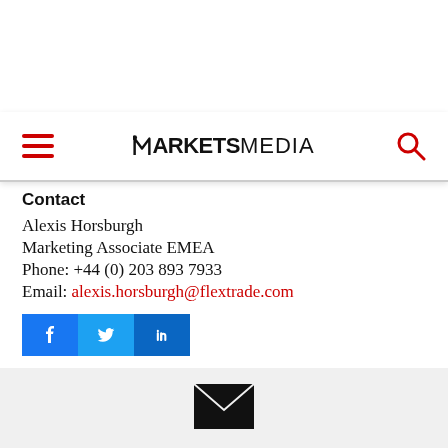Markets Media — navigation bar with hamburger menu and search icon
Contact
Alexis Horsburgh
Marketing Associate EMEA
Phone: +44 (0) 203 893 7933
Email: alexis.horsburgh@flextrade.com
[Figure (infographic): Social media share buttons: Facebook (f icon), Twitter (bird icon), LinkedIn (in icon)]
[Figure (illustration): Email envelope icon at bottom of page on gray background]